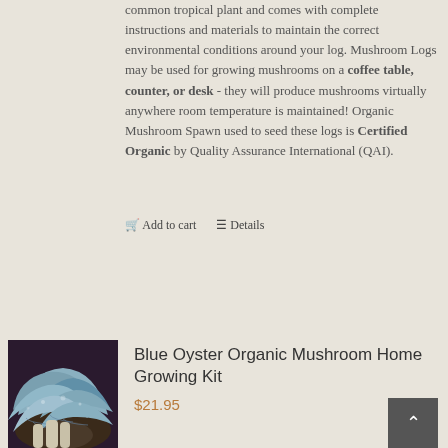common tropical plant and comes with complete instructions and materials to maintain the correct environmental conditions around your log. Mushroom Logs may be used for growing mushrooms on a coffee table, counter, or desk - they will produce mushrooms virtually anywhere room temperature is maintained! Organic Mushroom Spawn used to seed these logs is Certified Organic by Quality Assurance International (QAI).
Add to cart   Details
[Figure (photo): Close-up photo of blue oyster mushrooms growing in a cluster, showing fan-shaped caps in blue-gray tones]
Blue Oyster Organic Mushroom Home Growing Kit
$21.95